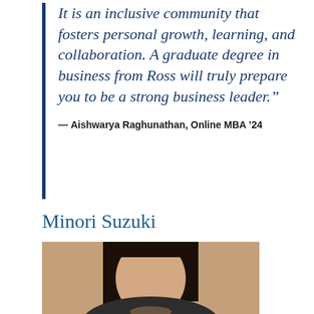It is an inclusive community that fosters personal growth, learning, and collaboration. A graduate degree in business from Ross will truly prepare you to be a strong business leader.”
— Aishwarya Raghunathan, Online MBA ’24
Minori Suzuki
[Figure (photo): Portrait photo of Minori Suzuki, a woman with dark hair, shown from shoulders up against a warm beige/tan background.]